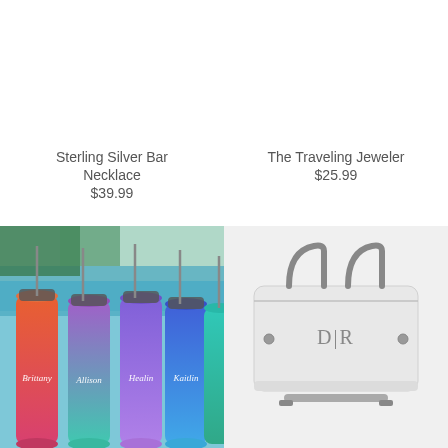Sterling Silver Bar Necklace
$39.99
[Figure (photo): Four colorful personalized insulated tumblers with names written in script: Brittany, Allison, Healin, Kaitlin, photographed near a pool]
The Traveling Jeweler
$25.99
[Figure (photo): White monogrammed duffle bag with gray leather handles and strap, monogram D|R on the front]